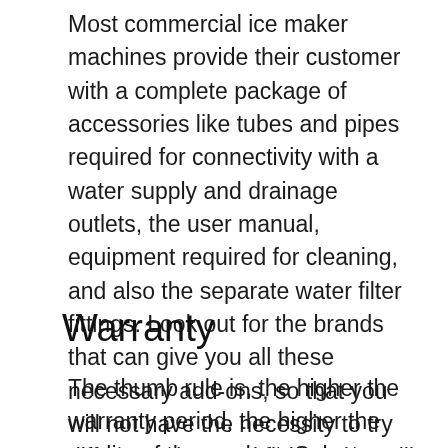Most commercial ice maker machines provide their customer with a complete package of accessories like tubes and pipes required for connectivity with a water supply and drainage outlets, the user manual, equipment required for cleaning, and also the separate water filter fittings. Look out for the brands that can give you all these necessary add-ons, so that you will not have the necessity to try different tubes and fittings that will suit your type of ice maker machine.
Warranty
The thumb rule is, the higher the warranty period, the higher the quality of the product. Select a brand that has a higher warranty